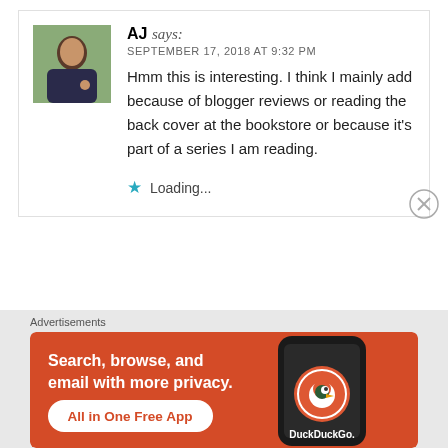AJ says: SEPTEMBER 17, 2018 AT 9:32 PM
Hmm this is interesting. I think I mainly add because of blogger reviews or reading the back cover at the bookstore or because it's part of a series I am reading.
Loading...
Advertisements
[Figure (screenshot): DuckDuckGo advertisement banner: orange background with text 'Search, browse, and email with more privacy. All in One Free App' and a phone image with DuckDuckGo logo]